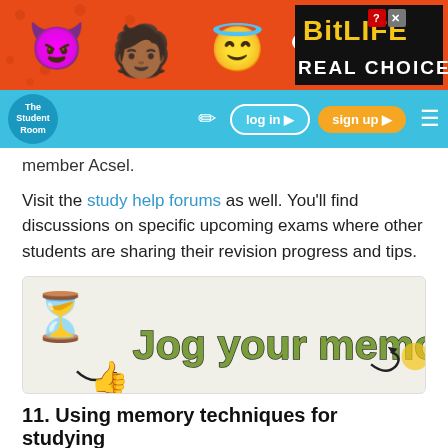[Figure (screenshot): BitLife advertisement banner with colorful emojis on red background and black panel showing 'BitLIFE REAL CHOICES']
[Figure (screenshot): The Student Room navigation bar with logo, edit icon, login button, sign up button, and hamburger menu on light blue background]
member Acsel.
Visit the study help forums as well. You'll find discussions on specific upcoming exams where other students are sharing their revision progress and tips.
[Figure (illustration): Jog your memory banner image with hourglass icon, thumbs up icon, decorative swirls, and bold green text reading 'Jog your memory' on light cream background]
11. Using memory techniques for studying